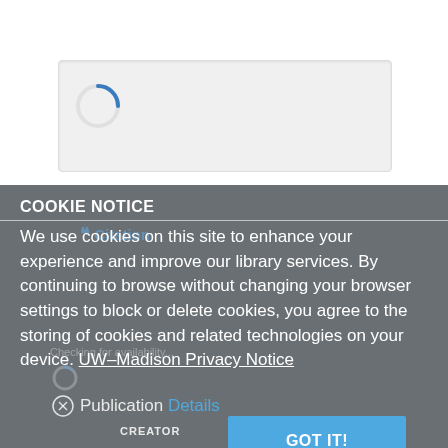[Figure (screenshot): Web page screenshot showing a loading spinner inside a gray rounded box, partially visible at the top of the page, with 'Citation' section header and 'Checking for availability...' text visible beneath a gray overlay.]
COOKIE NOTICE
We use cookies on this site to enhance your experience and improve our library services. By continuing to browse without changing your browser settings to block or delete cookies, you agree to the storing of cookies and related technologies on your device. UW–Madison Privacy Notice
Publication Details
CREATOR
GOT IT!